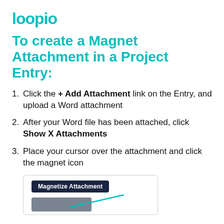[Figure (logo): Loopio logo in teal]
To create a Magnet Attachment in a Project Entry:
Click the + Add Attachment link on the Entry, and upload a Word attachment
After your Word file has been attached, click Show X Attachments
Place your cursor over the attachment and click the magnet icon
[Figure (screenshot): Screenshot showing Magnetize Attachment button tooltip with a teal arrow pointing to an attachment item in a dark grey bar]